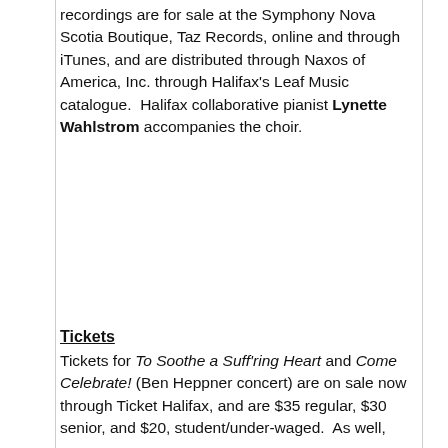recordings are for sale at the Symphony Nova Scotia Boutique, Taz Records, online and through iTunes, and are distributed through Naxos of America, Inc. through Halifax's Leaf Music catalogue.  Halifax collaborative pianist Lynette Wahlstrom accompanies the choir.
Tickets
Tickets for To Soothe a Suff'ring Heart and Come Celebrate! (Ben Heppner concert) are on sale now through Ticket Halifax, and are $35 regular, $30 senior, and $20, student/under-waged. As well,